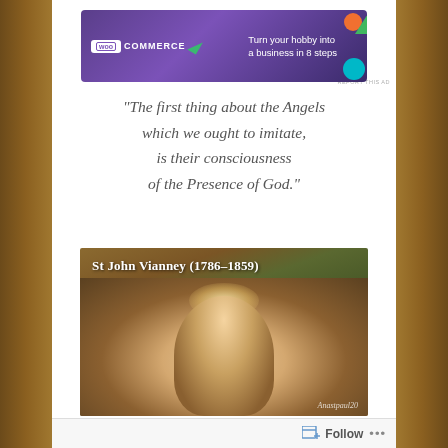[Figure (screenshot): WooCommerce advertisement banner: purple background with WooCommerce logo on left and text 'Turn your hobby into a business in 8 steps' on right, with colorful decorative shapes]
REPORT THIS AD
“The first thing about the Angels which we ought to imitate, is their consciousness of the Presence of God.”
[Figure (photo): Painting of an angel with wings, halo glow, looking downward. Text overlay reads: St John Vianney (1786-1859). Watermark: Anastpaul20]
Follow ...